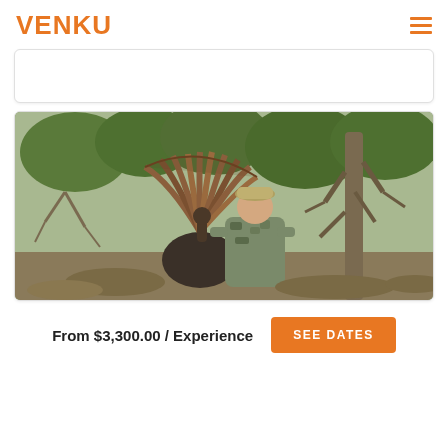VENKU
[Figure (photo): Hunter in camouflage clothing holding a wild turkey with fanned tail feathers, standing in front of bare winter trees and brush outdoors.]
From $3,300.00 / Experience
SEE DATES